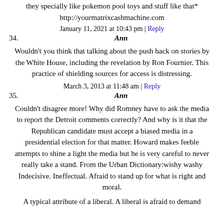they specially like pokemon pool toys and stuff like that*
http://yourmatrixcashmachine.com
January 11, 2021 at 10:43 pm | Reply
34. Ann
Wouldn't you think that talking about the push back on stories by the White House, including the revelation by Ron Fournier. This practice of shielding sources for access is distressing.
March 3, 2013 at 11:48 am | Reply
35. Ann
Couldn't disagree more! Why did Romney have to ask the media to report the Detroit comments correctly? And why is it that the Republican candidate must accept a biased media in a presidential election for that matter. Howard makes feeble attempts to shine a light the media but he is very careful to never really take a stand. From the Urban Dictionary:wishy washy Indecisive. Ineffectual. Afraid to stand up for what is right and moral.
A typical attribute of a liberal. A liberal is afraid to demand